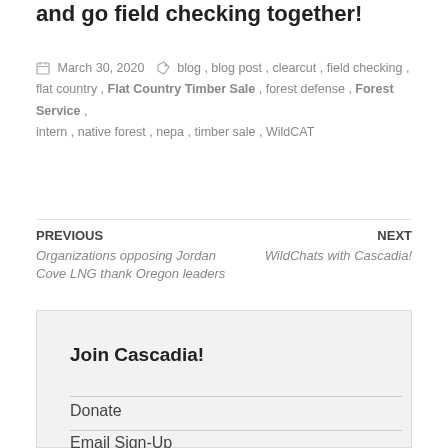and go field checking together!
March 30, 2020   blog, blog post, clearcut, field checking, flat country, Flat Country Timber Sale, forest defense, Forest Service, intern, native forest, nepa, timber sale, WildCAT
PREVIOUS
Organizations opposing Jordan Cove LNG thank Oregon leaders
NEXT
WildChats with Cascadia!
Join Cascadia!
Donate
Email Sign-Up